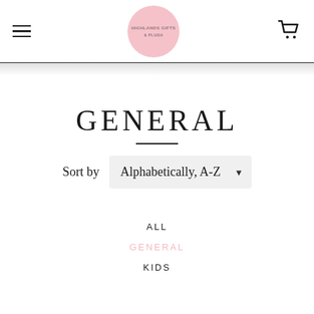Highlands Gifts & Plush — navigation header with logo and cart
GENERAL
Sort by  Alphabetically, A-Z
ALL
GENERAL
KIDS